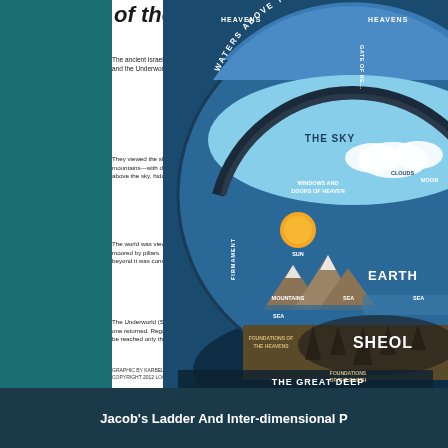of the Universe
The ancient Israelites divided the world into Heaven, Earth, Sea, and the Underworld.
They viewed the sky as a vault resting on foundations—perhaps mountains—with doors and windows that let in the rain. God dwelt above the sky, hidden in cloud and majesty.
The world was viewed as a disk floating on the waters, secured or moored by pillars. The earth was the only known domain—the realm beyond it was considered unknowable.
The Underworld (Sheol) was a watery or dusty prison from which no one returned. Regarded as a physical place beneath the earth, it could be reached only through death.
[Figure (infographic): Circular cross-section diagram of the ancient Israelite cosmology showing: HEAVENS and GATE OF HEAVENS at top, WATERS ABOVE THE FIRMAMENT band, THE SKY layer with WINDOWS AND DOORS OF HEAVEN, MOON, CLOUDS, SUN, FIRMAMENT label on left side, EARTH with MOUNTAINS, SEA areas, FOUNDATIONS OF THE HEAVENS below, SHEOL in dark region, FOUNDATIONS OF THE EARTH, and THE GREAT DEEP at bottom.]
GRAPHIC BY KARBEL MULTIMEDIA, COPYRIGHT 2012 LOGOS BIBLE SOFTWARE
Jacob's Ladder And Inter-dimensional P